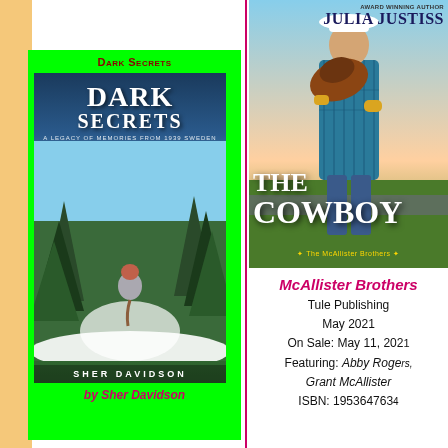[Figure (illustration): Book cover of 'Dark Secrets' by Sher Davidson - shows a woman with a braid walking into a snowy forest of pine trees, wearing a grey sweater and hat. Title text 'DARK SECRETS - A Legacy of Memories from 1939 Sweden' on cover.]
Dark Secrets
by Sher Davidson
[Figure (illustration): Book cover of 'The Cowboy' by Julia Justiss - shows a cowboy in plaid shirt and white hat holding a saddle, standing in a field. Part of The McAllister Brothers series.]
McAllister Brothers
Tule Publishing
May 2021
On Sale: May 11, 2021
Featuring: Abby Rogers, Grant McAllister
ISBN: 1953647634